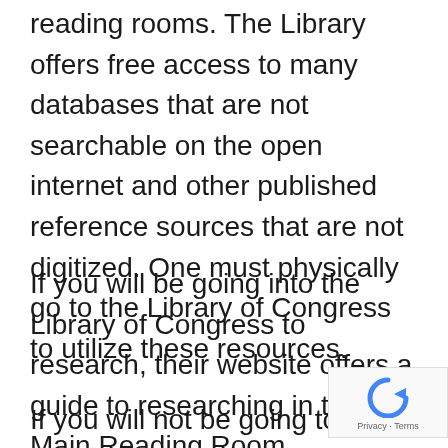reading rooms. The Library offers free access to many databases that are not searchable on the open internet and other published reference sources that are not digitized. One must physically go to the Library of Congress to utilize these resources.
If you will be going into the Library of Congress to research, their website offers a guide to researching in the Main Reading Room.
If you will not be going to the Library of